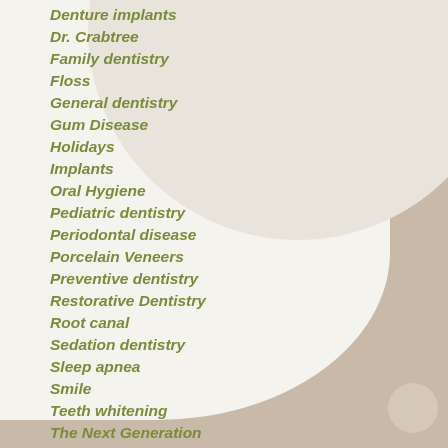Denture implants
Dr. Crabtree
Family dentistry
Floss
General dentistry
Gum Disease
Holidays
Implants
Oral Hygiene
Pediatric dentistry
Periodontal disease
Porcelain Veneers
Preventive dentistry
Restorative Dentistry
Root canal
Sedation dentistry
Sleep apnea
Smile
Teeth whitening
The Next Generation
Uncategorized
Wisdom teeth